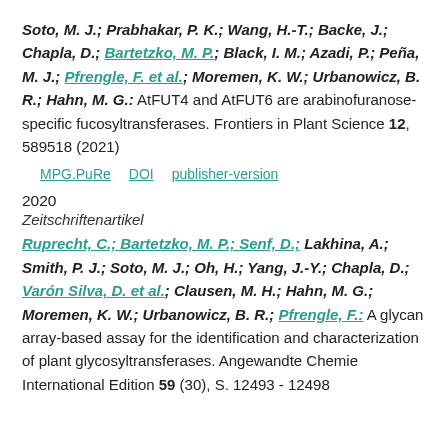Soto, M. J.; Prabhakar, P. K.; Wang, H.-T.; Backe, J.; Chapla, D.; Bartetzko, M. P.; Black, I. M.; Azadi, P.; Peña, M. J.; Pfrengle, F. et al.; Moremen, K. W.; Urbanowicz, B. R.; Hahn, M. G.: AtFUT4 and AtFUT6 are arabinofuranose-specific fucosyltransferases. Frontiers in Plant Science 12, 589518 (2021)
MPG.PuRe   DOI   publisher-version
2020
Zeitschriftenartikel
Ruprecht, C.; Bartetzko, M. P.; Senf, D.; Lakhina, A.; Smith, P. J.; Soto, M. J.; Oh, H.; Yang, J.-Y.; Chapla, D.; Varón Silva, D. et al.; Clausen, M. H.; Hahn, M. G.; Moremen, K. W.; Urbanowicz, B. R.; Pfrengle, F.: A glycan array-based assay for the identification and characterization of plant glycosyltransferases. Angewandte Chemie International Edition 59 (30), S. 12493 - 12498